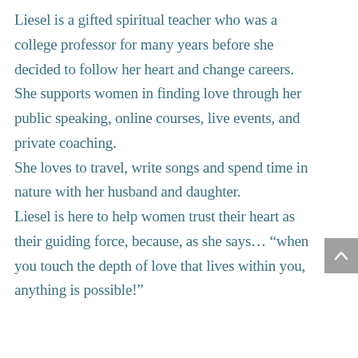Liesel is a gifted spiritual teacher who was a college professor for many years before she decided to follow her heart and change careers. She supports women in finding love through her public speaking, online courses, live events, and private coaching. She loves to travel, write songs and spend time in nature with her husband and daughter. Liesel is here to help women trust their heart as their guiding force, because, as she says… “when you touch the depth of love that lives within you, anything is possible!”